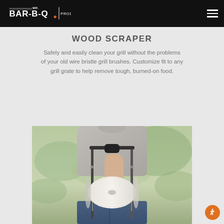MR. BAR-B-Q PRODUCTS
WOOD SCRAPER
Safely and easily clean your grill without the problems of your old wire bristle grill brushes. Customize fit to any grill grate to help remove tough, burned-on food.
[Figure (photo): Person holding a wood scraper / grill cleaning tool with a white cylindrical roll attached to a metal frame, photographed outdoors with a blurred green background.]